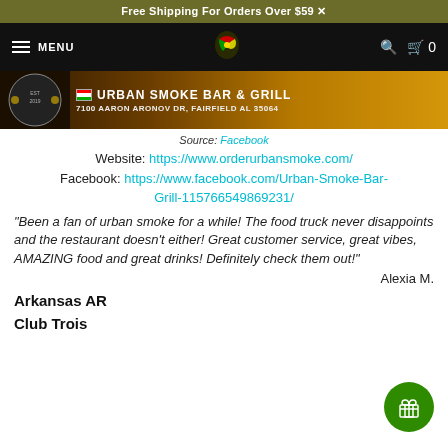Free Shipping For Orders Over $59
[Figure (screenshot): Navigation bar with hamburger menu, MENU text, African continent logo, search icon, and cart icon showing 0]
[Figure (photo): Urban Smoke Bar & Grill restaurant banner showing logo, establishment date EST 2019, flag icon, restaurant name URBAN SMOKE BAR & GRILL, and address 7100 AARON ARONOV DR, FAIRFIELD AL 35064]
Source: Facebook
Website: https://www.orderurbansmoke.com/
Facebook: https://www.facebook.com/Urban-Smoke-Bar-Grill-115766549869231/
“Been a fan of urban smoke for a while! The food truck never disappoints and the restaurant doesn't either! Great customer service, great vibes, AMAZING food and great drinks! Definitely check them out!”
Alexia M.
Arkansas AR
Club Trois